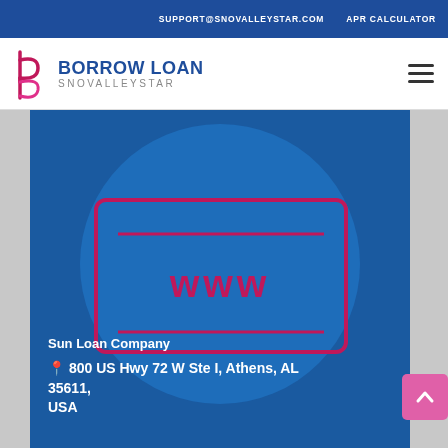SUPPORT@SNOVALLEYSTAR.COM   APR CALCULATOR
[Figure (logo): Borrow Loan Snovalleystar logo with stylized b/p letter icon in pink/magenta and blue text]
[Figure (illustration): Blue card with circle background and pink outline laptop/monitor showing WWW text, representing a website illustration]
Sun Loan Company
800 US Hwy 72 W Ste I, Athens, AL 35611, USA